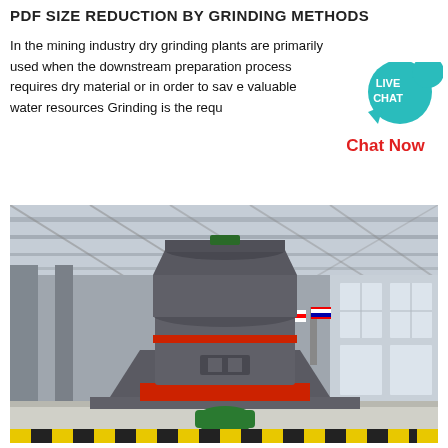PDF SIZE REDUCTION BY GRINDING METHODS
In the mining industry dry grinding plants are primarily used when the downstream preparation process requires dry material or in order to save valuable water resources Grinding is the requ
[Figure (photo): Industrial grinding mill machine (vertical roller mill) installed inside a large factory/warehouse building. The machine is dark gray with red accent rings and sits on an orange-red base frame with diagonal support legs. A green motor is visible at the bottom. Colorful flags are visible in the background. Yellow-black safety striping at the bottom edge.]
[Figure (infographic): Live Chat widget: teal speech bubble with 'LIVE CHAT' text and a larger teal circle with tail, with 'Chat Now' in red text below]